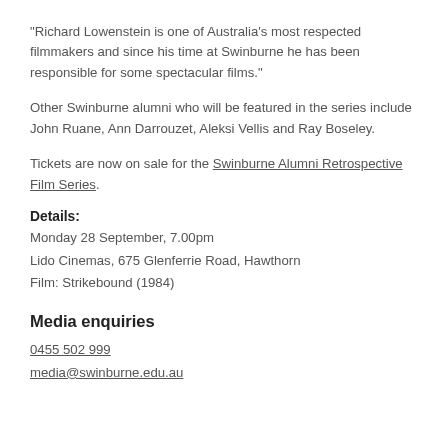“Richard Lowenstein is one of Australia’s most respected filmmakers and since his time at Swinburne he has been responsible for some spectacular films.”
Other Swinburne alumni who will be featured in the series include John Ruane, Ann Darrouzet, Aleksi Vellis and Ray Boseley.
Tickets are now on sale for the Swinburne Alumni Retrospective Film Series.
Details:
Monday 28 September, 7.00pm
Lido Cinemas, 675 Glenferrie Road, Hawthorn
Film: Strikebound (1984)
Media enquiries
0455 502 999
media@swinburne.edu.au